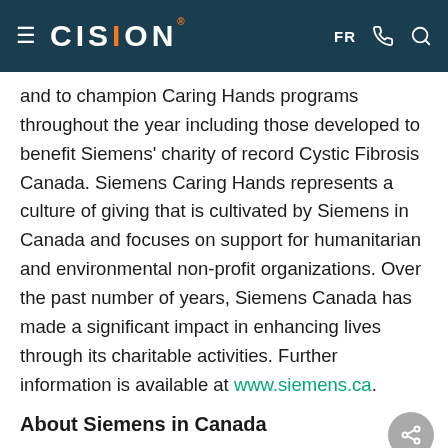CISION  FR
and to champion Caring Hands programs throughout the year including those developed to benefit Siemens' charity of record Cystic Fibrosis Canada. Siemens Caring Hands represents a culture of giving that is cultivated by Siemens in Canada and focuses on support for humanitarian and environmental non-profit organizations. Over the past number of years, Siemens Canada has made a significant impact in enhancing lives through its charitable activities. Further information is available at www.siemens.ca.
About Siemens in Canada